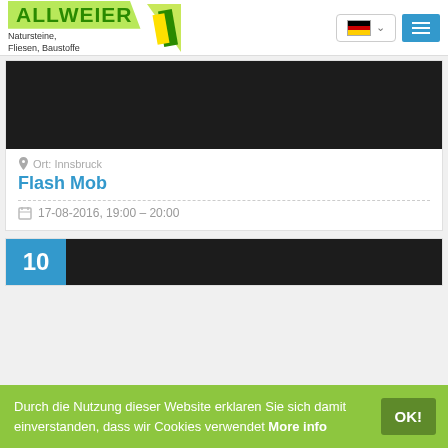ALLWEIER Natursteine, Fliesen, Baustoffe
[Figure (photo): Dark/black image for Flash Mob event]
Ort: Innsbruck
Flash Mob
17-08-2016, 19:00 – 20:00
[Figure (photo): Partial dark image for second event, with blue "10" tile overlay]
Durch die Nutzung dieser Website erklaren Sie sich damit einverstanden, dass wir Cookies verwendet More info